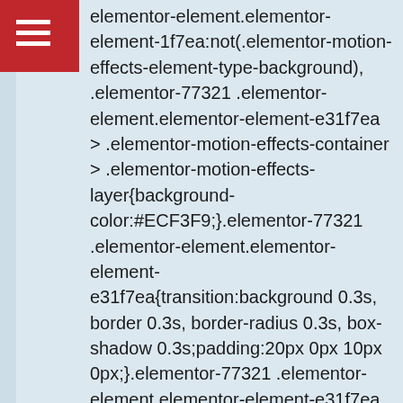elementor-element.elementor-element-1f7ea:not(.elementor-motion-effects-element-type-background), .elementor-77321 .elementor-element.elementor-element-e31f7ea > .elementor-motion-effects-container > .elementor-motion-effects-layer{background-color:#ECF3F9;}.elementor-77321 .elementor-element.elementor-element-e31f7ea{transition:background 0.3s, border 0.3s, border-radius 0.3s, box-shadow 0.3s;padding:20px 0px 10px 0px;}.elementor-77321 .elementor-element.elementor-element-e31f7ea > .elementor-background-overlay{transition:background 0.3s, border-radius 0.3s, opacity 0.3s;}.elementor-77321 .elementor-element.elementor-element-593d65b > .elementor-element-populated{margin:0px 0px 0px 0px;--e-column-margin-right:0px;--e-column-